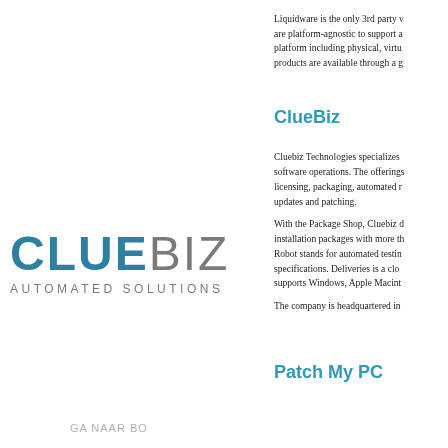Liquidware is the only 3rd party w... are platform-agnostic to support a... platform including physical, virtu... products are available through a g...
ClueBiz
Cluebiz Technologies specializes ... software operations. The offerings... licensing, packaging, automated r... updates and patching.
With the Package Shop, Cluebiz d... installation packages with more th... Robot stands for automated testin... specifications. Deliveries is a clo... supports Windows, Apple Macinte...
The company is headquartered in...
[Figure (logo): ClueBiz Automated Solutions logo with blue CLUE and grey BIZ text]
GA NAAR BO
Patch My PC